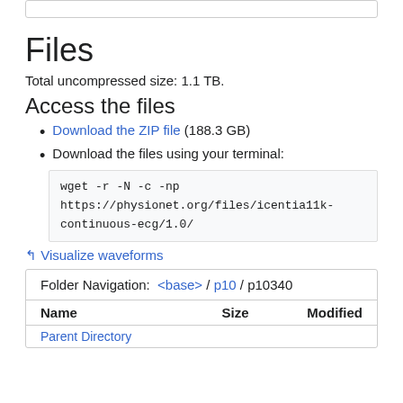Files
Total uncompressed size: 1.1 TB.
Access the files
Download the ZIP file (188.3 GB)
Download the files using your terminal:
wget -r -N -c -np https://physionet.org/files/icentia11k-continuous-ecg/1.0/
✦ Visualize waveforms
| Name | Size | Modified |
| --- | --- | --- |
| Parent Directory |  |  |